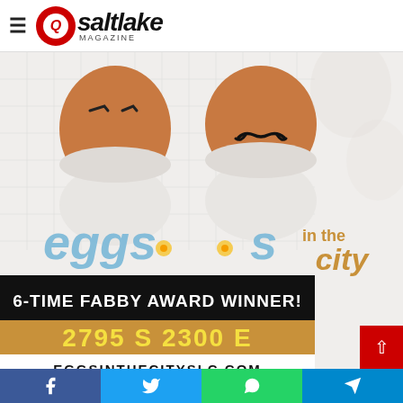Q Salt Lake Magazine
[Figure (photo): Advertisement for Eggs in the City restaurant showing two eggs in white egg cups with drawn-on faces (one with eyebrows, one with mustache) above the restaurant branding. Text reads 'eggs in the city', '6-TIME FABBY AWARD WINNER!', '2795 S 2300 E', 'EGGSINTHECITYSLC.COM']
Facebook | Twitter | WhatsApp | Telegram